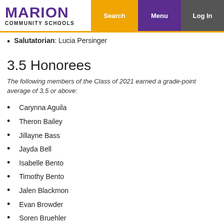MARION COMMUNITY SCHOOLS | Search | Menu | Log In
Salutatorian: Lucia Persinger
3.5 Honorees
The following members of the Class of 2021 earned a grade-point average of 3.5 or above:
Carynna Aguila
Theron Bailey
Jillayne Bass
Jayda Bell
Isabelle Bento
Timothy Bento
Jalen Blackmon
Evan Browder
Soren Bruehler
Quiana Chasteen
Johnny Davis